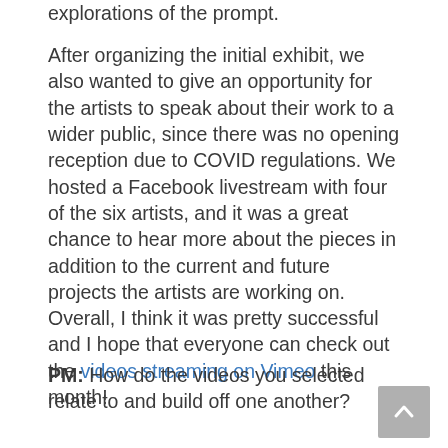explorations of the prompt.
After organizing the initial exhibit, we also wanted to give an opportunity for the artists to speak about their work to a wider public, since there was no opening reception due to COVID regulations. We hosted a Facebook livestream with four of the six artists, and it was a great chance to hear more about the pieces in addition to the current and future projects the artists are working on. Overall, I think it was pretty successful and I hope that everyone can check out the videos streaming on Vimeo this month!
PM: How do the videos you selected relate to and build off one another?